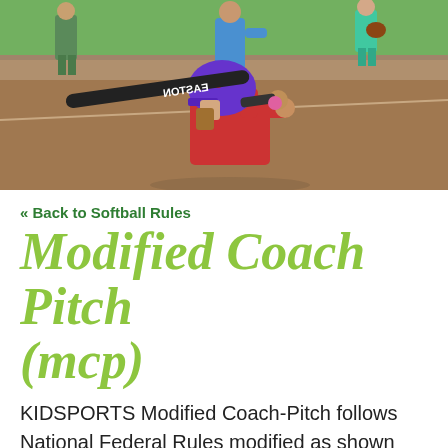[Figure (photo): A youth softball player wearing a purple helmet and red shirt, holding an Easton bat in batting stance, with a coach in blue shirt and another player visible on a dirt baseball/softball field.]
« Back to Softball Rules
Modified Coach Pitch (mcp)
KIDSPORTS Modified Coach-Pitch follows National Federal Rules modified as shown below.